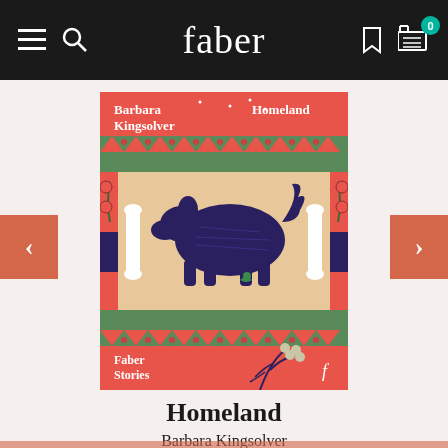faber
[Figure (illustration): Book cover of 'Homeland' by Barbara Kingsolver, Faber Stories. Features a dark blue/purple dog on a beige background with red and green decorative borders featuring geometric patterns. The cover has text 'Barbara Kingsolver' and 'Homeland' at top, 'Faber Stories' and Faber logo at bottom, and a botanical illustration at the bottom right.]
Homeland
Barbara Kingsolver
£3.50